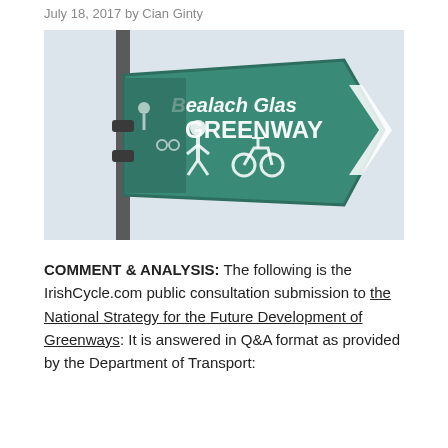July 18, 2017 by Cian Ginty
[Figure (photo): A green directional sign reading 'Bealach Glas GREENWAY' with pedestrian and cyclist icons, mounted on a metal post against a light sky background.]
COMMENT & ANALYSIS: The following is the IrishCycle.com public consultation submission to the National Strategy for the Future Development of Greenways: It is answered in Q&A format as provided by the Department of Transport: